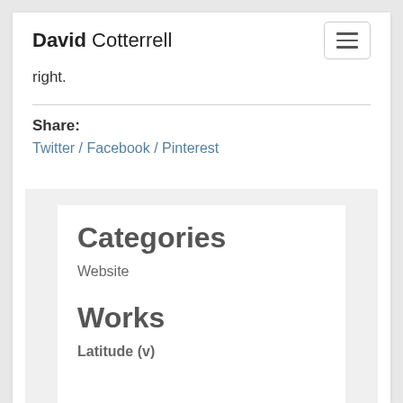David Cotterrell
right.
Share:
Twitter / Facebook / Pinterest
Categories
Website
Works
Latitude (v)